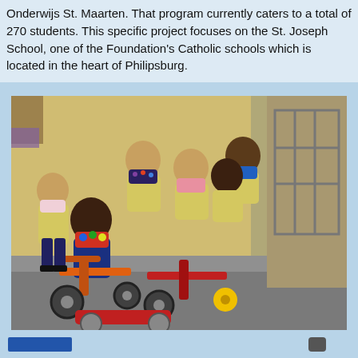Onderwijs St. Maarten. That program currently caters to a total of 270 students. This specific project focuses on the St. Joseph School, one of the Foundation's Catholic schools which is located in the heart of Philipsburg.
[Figure (photo): Group of young school children wearing face masks and yellow school uniforms, riding and sitting on tricycles outdoors against a yellow wall. One child is on an orange tricycle in the foreground, others are grouped together on red and orange tricycles in the background.]